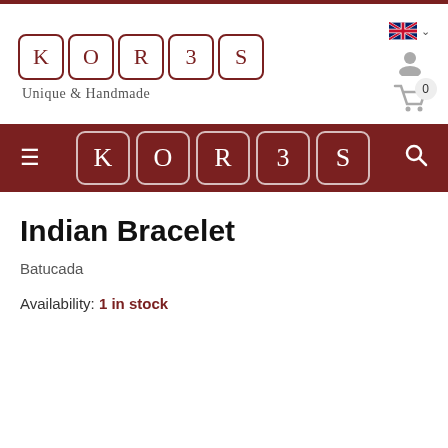[Figure (logo): KOR3S logo with individual letter tiles in dark red border, tagline 'Unique & Handmade']
[Figure (screenshot): UK flag language selector, user account icon, and shopping cart icon with badge showing 0]
[Figure (logo): KOR3S navigation bar logo on dark red background with hamburger menu and search icon]
Indian Bracelet
Batucada
Availability: 1 in stock